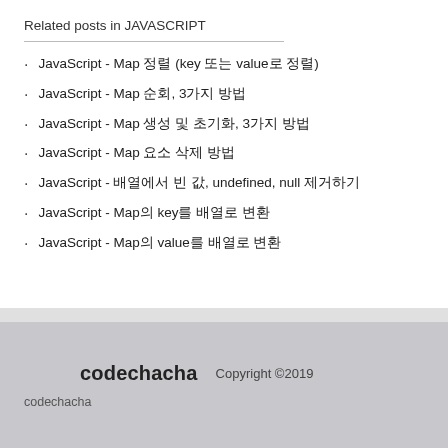Related posts in JAVASCRIPT
JavaScript - Map 정렬 (key 또는 value로 정렬)
JavaScript - Map 순회, 3가지 방법
JavaScript - Map 생성 및 초기화, 3가지 방법
JavaScript - Map 요소 삭제 방법
JavaScript - 배열에서 빈 값, undefined, null 제거하기
JavaScript - Map의 key를 배열로 변환
JavaScript - Map의 value를 배열로 변환
codechacha  Copyright ©2019
codechacha